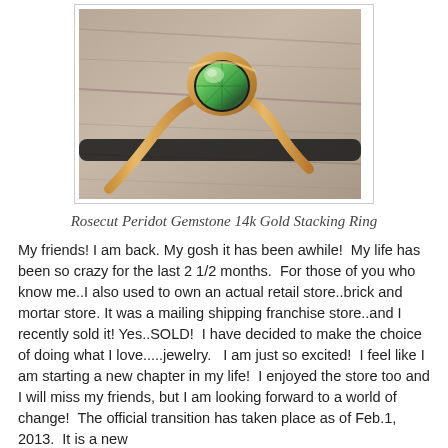[Figure (photo): Close-up photograph of a rose-cut peridot gemstone set in a 14k gold stacking ring, resting on a wooden surface with a dark rod/stick behind it.]
Rosecut Peridot Gemstone 14k Gold Stacking Ring
My friends! I am back. My gosh it has been awhile!  My life has been so crazy for the last 2 1/2 months.  For those of you who know me..I also used to own an actual retail store..brick and mortar store. It was a mailing shipping franchise store..and I recently sold it! Yes..SOLD!  I have decided to make the choice of doing what I love.....jewelry.   I am just so excited!  I feel like I am starting a new chapter in my life!  I enjoyed the store too and I will miss my friends, but I am looking forward to a world of change!  The official transition has taken place as of Feb.1, 2013.  It is a new